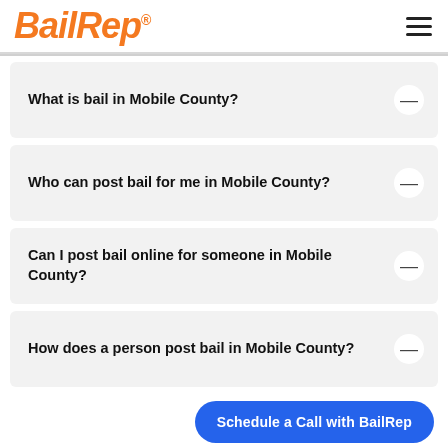BailRep®
What is bail in Mobile County?
Who can post bail for me in Mobile County?
Can I post bail online for someone in Mobile County?
How does a person post bail in Mobile County?
Schedule a Call with BailRep